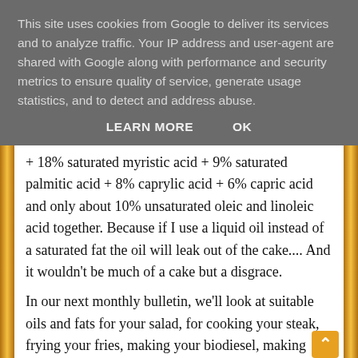This site uses cookies from Google to deliver its services and to analyze traffic. Your IP address and user-agent are shared with Google along with performance and security metrics to ensure quality of service, generate usage statistics, and to detect and address abuse.
LEARN MORE    OK
+ 18% saturated myristic acid + 9% saturated palmitic acid + 8% caprylic acid + 6% capric acid and only about 10% unsaturated oleic and linoleic acid together. Because if I use a liquid oil instead of a saturated fat the oil will leak out of the cake.... And it wouldn't be much of a cake but a disgrace.
In our next monthly bulletin, we'll look at suitable oils and fats for your salad, for cooking your steak, frying your fries, making your biodiesel, making your own mayo, making your own alkyd resins or blown oil etc.